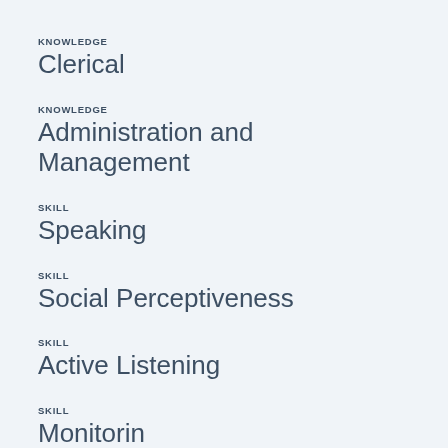KNOWLEDGE
Clerical
KNOWLEDGE
Administration and Management
SKILL
Speaking
SKILL
Social Perceptiveness
SKILL
Active Listening
SKILL
Monitoring